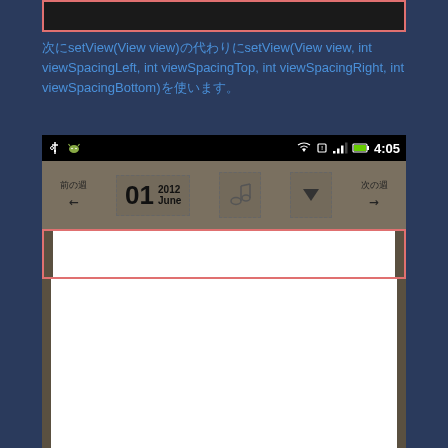[Figure (screenshot): Top portion of Android app screenshot with red highlight border showing a dark status bar area]
次にsetView(View view)の代わりにsetView(View view, int viewSpacingLeft, int viewSpacingTop, int viewSpacingRight, int viewSpacingBottom)を使います。
[Figure (screenshot): Android app screenshot showing a calendar application with status bar showing 4:05 time, calendar navigation buttons '前の週' and '次の週', date display showing '01 2012 June', music and dropdown icons, and a white content area with red highlight border]